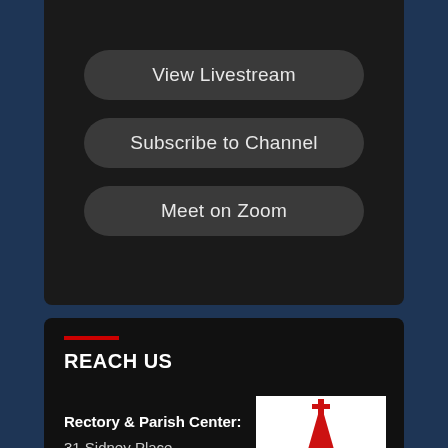View Livestream
Subscribe to Channel
Meet on Zoom
REACH US
Rectory & Parish Center:
31 Sidney Place
Brooklyn, N.Y. 11201
[Figure (logo): Church logo with red steeple silhouette and gold cityscape skyline on white background]